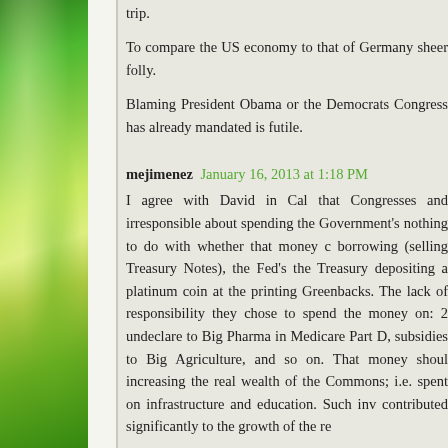trip.
To compare the US economy to that of Germany sheer folly.
Blaming President Obama or the Democrats Congress has already mandated is futile.
mejimenez  January 16, 2013 at 1:18 PM
I agree with David in Cal that Congresses and irresponsible about spending the Government's nothing to do with whether that money c borrowing (selling Treasury Notes), the Fed's the Treasury depositing a platinum coin at the printing Greenbacks. The lack of responsibility they chose to spend the money on: 2 undeclare to Big Pharma in Medicare Part D, subsidies to Big Agriculture, and so on. That money shoul increasing the real wealth of the Commons; i.e. spent on infrastructure and education. Such inv contributed significantly to the growth of the re